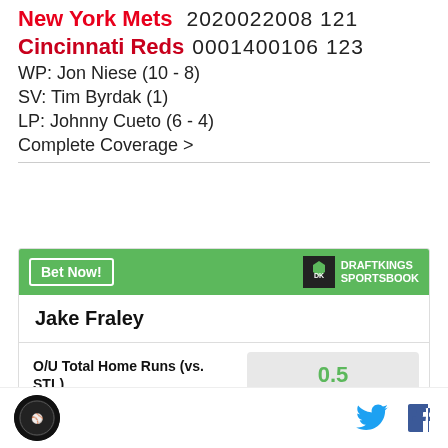New York Mets   2020022008 121
Cincinnati Reds 0001400106 123
WP: Jon Niese (10 - 8)
SV: Tim Byrdak (1)
LP: Johnny Cueto (6 - 4)
Complete Coverage >
[Figure (infographic): DraftKings Sportsbook advertisement with Bet Now button, player name Jake Fraley, and O/U Total Home Runs (vs. STL) betting line of 0.5]